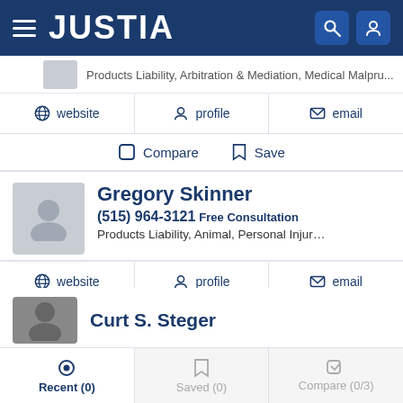JUSTIA
Products Liability, Arbitration & Mediation, Medical Malpru...
website   profile   email
Compare   Save
Gregory Skinner
(515) 964-3121 Free Consultation
Products Liability, Animal, Personal Injury and Workers' Co...
website   profile   email
Compare   Save
Curt S. Steger
Recent (0)   Saved (0)   Compare (0/3)